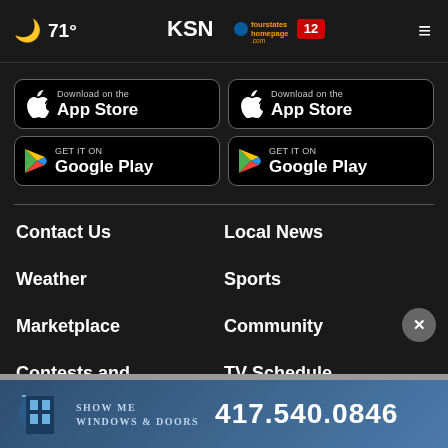🌙 71° | KSN fourstates homepage.com 12
[Figure (screenshot): Download on the App Store button (left column)]
[Figure (screenshot): Get it on Google Play button (left column)]
[Figure (screenshot): Download on the App Store button (right column)]
[Figure (screenshot): Get it on Google Play button (right column)]
Contact Us
Local News
Weather
Sports
Marketplace
Community
Contests and Sweepstakes
TV Schedule
[Figure (infographic): Show Me Windows & Doors advertisement with phone number 417.540.0846]